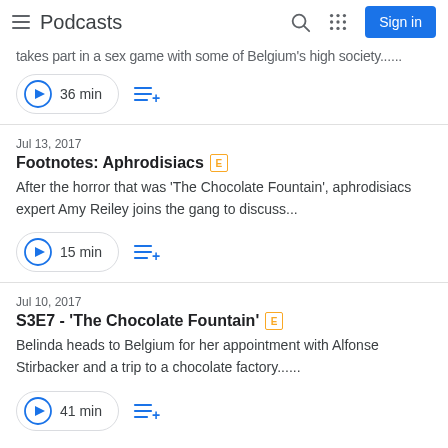Podcasts
takes part in a sex game with some of Belgium's high society......
36 min
Jul 13, 2017
Footnotes: Aphrodisiacs [E]
After the horror that was 'The Chocolate Fountain', aphrodisiacs expert Amy Reiley joins the gang to discuss...
15 min
Jul 10, 2017
S3E7 - 'The Chocolate Fountain' [E]
Belinda heads to Belgium for her appointment with Alfonse Stirbacker and a trip to a chocolate factory......
41 min